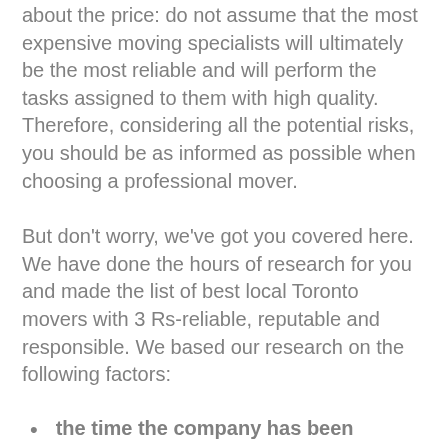about the price: do not assume that the most expensive moving specialists will ultimately be the most reliable and will perform the tasks assigned to them with high quality. Therefore, considering all the potential risks, you should be as informed as possible when choosing a professional mover.
But don't worry, we've got you covered here. We have done the hours of research for you and made the list of best local Toronto movers with 3 Rs-reliable, reputable and responsible. We based our research on the following factors:
the time the company has been